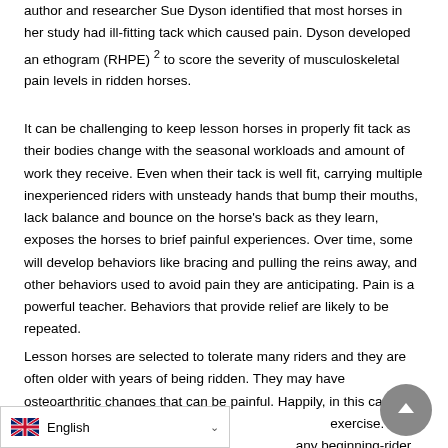author and researcher Sue Dyson identified that most horses in her study had ill-fitting tack which caused pain. Dyson developed an ethogram (RHPE) 2 to score the severity of musculoskeletal pain levels in ridden horses.
It can be challenging to keep lesson horses in properly fit tack as their bodies change with the seasonal workloads and amount of work they receive. Even when their tack is well fit, carrying multiple inexperienced riders with unsteady hands that bump their mouths, lack balance and bounce on the horse's back as they learn, exposes the horses to brief painful experiences. Over time, some will develop behaviors like bracing and pulling the reins away, and other behaviors used to avoid pain they are anticipating. Pain is a powerful teacher. Behaviors that provide relief are likely to be repeated.
Lesson horses are selected to tolerate many riders and they are often older with years of being ridden. They may have osteoarthritic changes that can be painful. Happily, in this case, it is a condition that often benefits from low-impact exercise. Carrying light riders and slow... any beginning-rider programs.